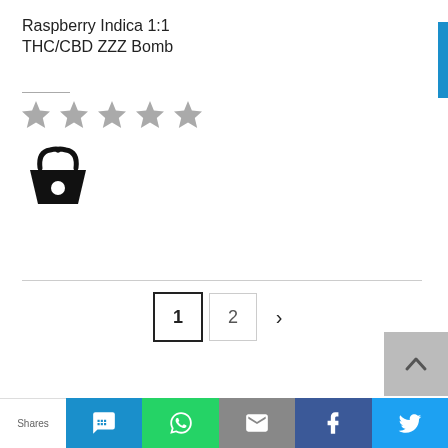Raspberry Indica 1:1
THC/CBD ZZZ Bomb
[Figure (other): Five gray star rating icons]
[Figure (other): Shopping basket icon]
[Figure (other): Pagination: page 1 (active), page 2, next arrow]
[Figure (other): Scroll to top button with upward chevron]
Shares | social share buttons: chat, WhatsApp, email, Facebook, Twitter